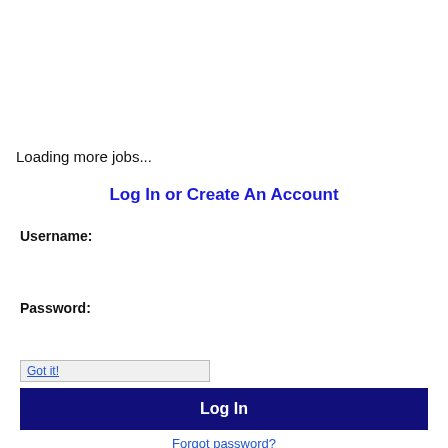Loading more jobs...
Log In or Create An Account
Username:
[Figure (screenshot): Username text input field with cookie notice overlay text: 'This website uses cookies to ensure you get the best experience on our website. Got it!']
Password:
[Figure (screenshot): Password input field (empty)]
[Figure (screenshot): Log In button — dark navy blue with white bold text 'Log In']
Forgot password?